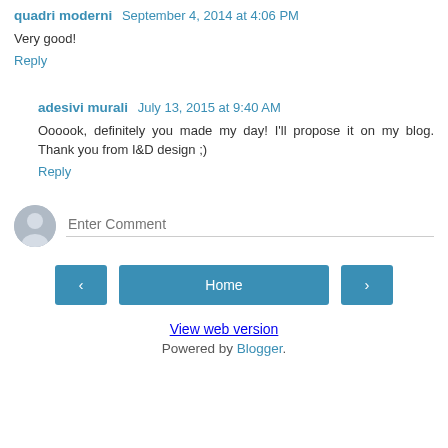quadri moderni  September 4, 2014 at 4:06 PM
Very good!
Reply
adesivi murali  July 13, 2015 at 9:40 AM
Oooook, definitely you made my day! I'll propose it on my blog. Thank you from I&D design ;)
Reply
Enter Comment
Home
View web version
Powered by Blogger.